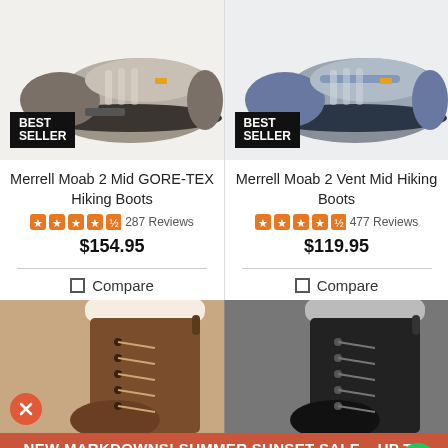[Figure (photo): Merrell Moab 2 Mid GORE-TEX Hiking Boot product photo with BEST SELLER badge]
[Figure (photo): Merrell Moab 2 Vent Mid Hiking Boot product photo with BEST SELLER badge]
Merrell Moab 2 Mid GORE-TEX Hiking Boots
Merrell Moab 2 Vent Mid Hiking Boots
287 Reviews
477 Reviews
$154.95
$119.95
Compare
Compare
[Figure (photo): Brown lace-up winter boot with sherpa trim]
[Figure (photo): Black lace-up winter boot with sherpa trim]
NEW MARKDOWNS! SUMMER SUNSET SALE – UP TO 50% OFF